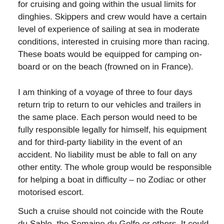for cruising and going within the usual limits for dinghies. Skippers and crew would have a certain level of experience of sailing at sea in moderate conditions, interested in cruising more than racing. These boats would be equipped for camping on-board or on the beach (frowned on in France).
I am thinking of a voyage of three to four days return trip to return to our vehicles and trailers in the same place. Each person would need to be fully responsible legally for himself, his equipment and for third-party liability in the event of an accident. No liability must be able to fall on any other entity. The whole group would be responsible for helping a boat in difficulty – no Zodiac or other motorised escort.
Such a cruise should not coincide with the Route du Sablo, the Semaine du Golfe or others. It could be a week...